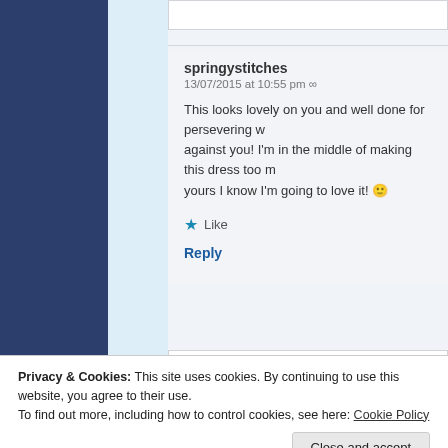springystitches
13/07/2015 at 10:55 pm ∞
This looks lovely on you and well done for persevering w... against you! I'm in the middle of making this dress too n... yours I know I'm going to love it! 🙂
★ Like
Reply
Clarinda Kaleidoscope
Privacy & Cookies: This site uses cookies. By continuing to use this website, you agree to their use.
To find out more, including how to control cookies, see here: Cookie Policy
Close and accept